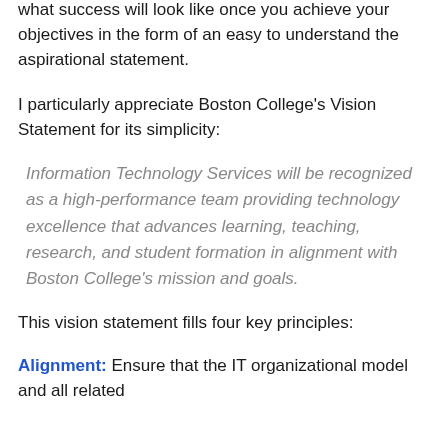what success will look like once you achieve your objectives in the form of an easy to understand the aspirational statement.
I particularly appreciate Boston College's Vision Statement for its simplicity:
Information Technology Services will be recognized as a high-performance team providing technology excellence that advances learning, teaching, research, and student formation in alignment with Boston College's mission and goals.
This vision statement fills four key principles:
Alignment:  Ensure that the IT organizational model and all related